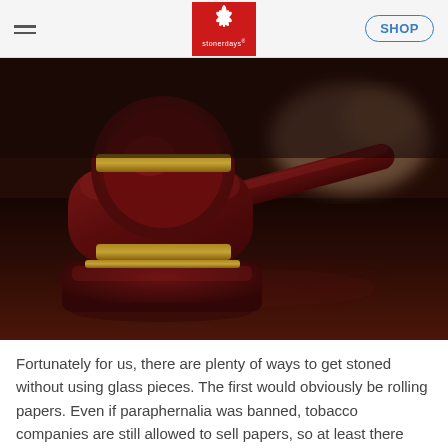StonerDays — SHOP
[Figure (photo): Close-up photo of a wooden judge's gavel resting on its sound block on a dark wood surface, with a blurred hand in the background.]
Fortunately for us, there are plenty of ways to get stoned without using glass pieces. The first would obviously be rolling papers. Even if paraphernalia was banned, tobacco companies are still allowed to sell papers, so at least there would still be those. Even if the rolling papers were to vanish,